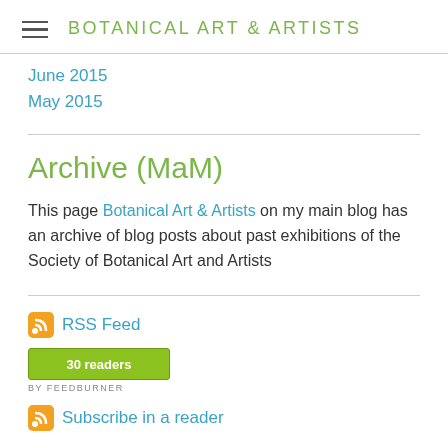BOTANICAL ART & ARTISTS
June 2015
May 2015
Archive (MaM)
This page Botanical Art & Artists on my main blog has an archive of blog posts about past exhibitions of the Society of Botanical Art and Artists
RSS Feed
[Figure (other): FeedBurner badge showing 30 readers]
Subscribe in a reader